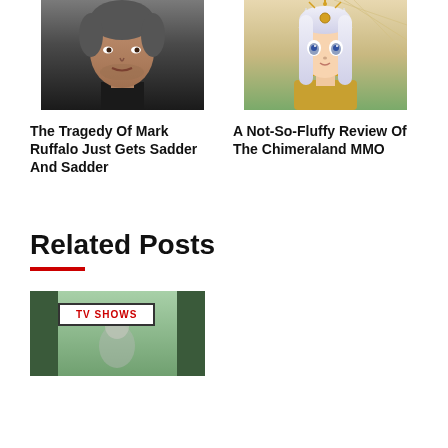[Figure (photo): Photo of Mark Ruffalo, a middle-aged man with gray-streaked hair and stubble, wearing a dark top, looking at the camera]
The Tragedy Of Mark Ruffalo Just Gets Sadder And Sadder
[Figure (illustration): Illustration of an anime-style character with white/silver hair, cat ears, and golden ornamental accessories — from the Chimeraland MMO game]
A Not-So-Fluffy Review Of The Chimeraland MMO
Related Posts
[Figure (screenshot): Partial thumbnail image with a TV SHOWS badge overlay, showing a green/teal toned preview image, partially cropped at the bottom of the page]